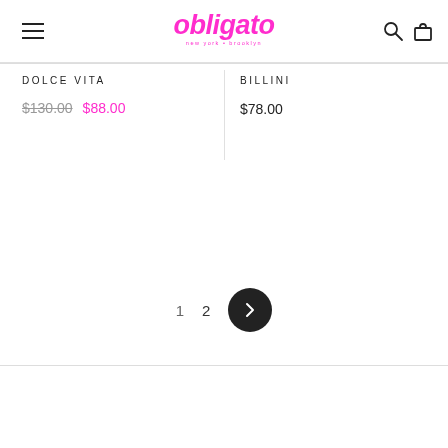obligato
DOLCE VITA
$130.00 $88.00
BILLINI
$78.00
1  2  >